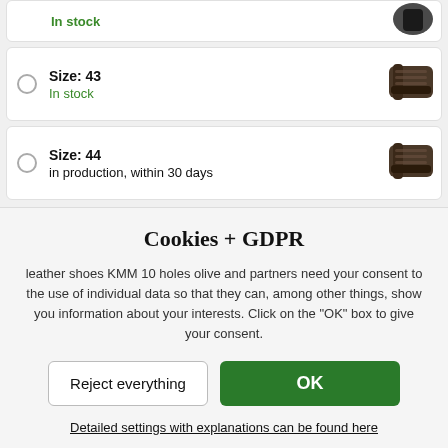In stock
Size: 43 | In stock
Size: 44 | in production, within 30 days
Cookies + GDPR
leather shoes KMM 10 holes olive and partners need your consent to the use of individual data so that they can, among other things, show you information about your interests. Click on the "OK" box to give your consent.
Reject everything
OK
Detailed settings with explanations can be found here